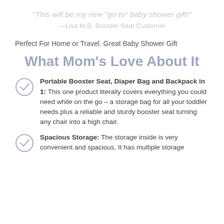"This will be my new "go-to" baby shower gift!" —Lisa M.B, Booster Seat Customer
Perfect For Home or Travel. Great Baby Shower Gift
What Mom's Love About It
Portable Booster Seat, Diaper Bag and Backpack in 1: This one product literally covers everything you could need while on the go – a storage bag for all your toddler needs plus a reliable and sturdy booster seat turning any chair into a high chair.
Spacious Storage: The storage inside is very convenient and spacious. It has multiple storage